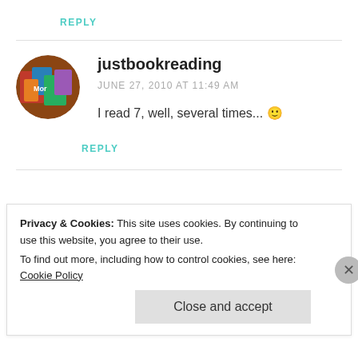REPLY
justbookreading
JUNE 27, 2010 AT 11:49 AM
I read 7, well, several times... 🙂
REPLY
Privacy & Cookies: This site uses cookies. By continuing to use this website, you agree to their use. To find out more, including how to control cookies, see here: Cookie Policy
Close and accept